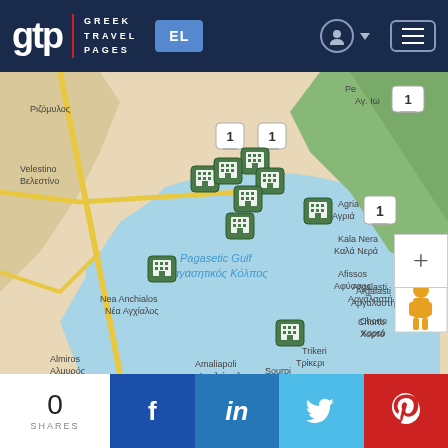gtp | GREEK TRAVEL PAGES — EL language selector, user icon, menu
[Figure (map): Interactive map of Pagasetic Gulf area in Greece (Magnesia region) showing hotel markers at various locations including Velestino, Nea Anchialos, Agria, Kala Nera, Afissos, Argalasti, Chorto, Amaliapoli, Sourpi, Trikeri. Map shows Pagasetic Gulf (Παγασητικός Κόλπος) with cluster markers numbered 1 at several locations.]
0 SHARES  f  in  Twitter  Pinterest